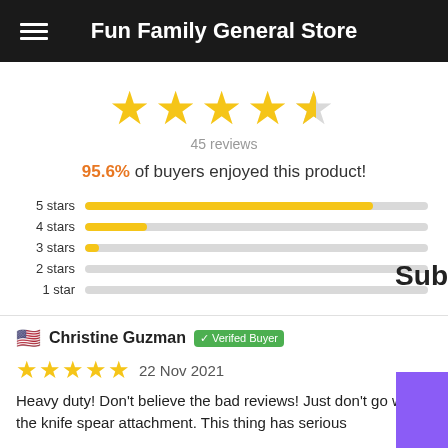Fun Family General Store
[Figure (other): 5 large gold stars rating display]
45 reviews
95.6% of buyers enjoyed this product!
[Figure (bar-chart): Star rating distribution]
Christine Guzman   Verified Buyer
22 Nov 2021
Heavy duty! Don't believe the bad reviews! Just don't go with the knife spear attachment. This thing has serious